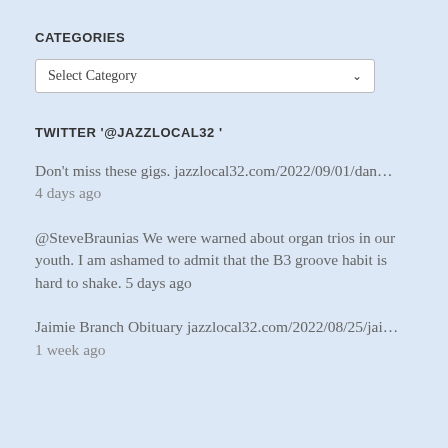CATEGORIES
[Figure (screenshot): Dropdown select box showing 'Select Category' with a chevron arrow]
TWITTER '@JAZZLOCAL32 '
Don't miss these gigs. jazzlocal32.com/2022/09/01/dan… 4 days ago
@SteveBraunias We were warned about organ trios in our youth. I am ashamed to admit that the B3 groove habit is hard to shake. 5 days ago
Jaimie Branch Obituary jazzlocal32.com/2022/08/25/jai… 1 week ago